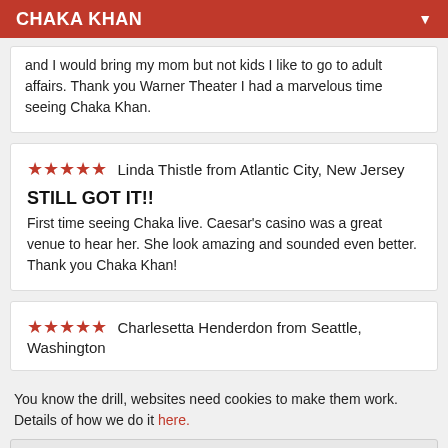CHAKA KHAN
and I would bring my mom but not kids I like to go to adult affairs. Thank you Warner Theater I had a marvelous time seeing Chaka Khan.
★★★★★  Linda Thistle from Atlantic City, New Jersey
STILL GOT IT!!
First time seeing Chaka live. Caesar's casino was a great venue to hear her. She look amazing and sounded even better. Thank you Chaka Khan!
★★★★★  Charlesetta Henderdon from Seattle, Washington
You know the drill, websites need cookies to make them work. Details of how we do it here.
Got it!